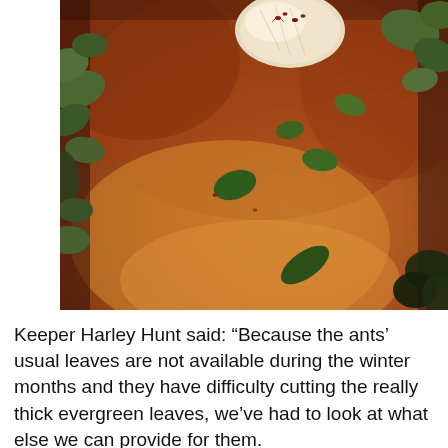[Figure (photo): Close-up photograph of a leafcutter ant mound showing orange-red sandy soil with green leaves scattered across it, and small red ants visible near a white mushroom or food object at the top. Green foliage surrounds the mound edges.]
Keeper Harley Hunt said: “Because the ants’ usual leaves are not available during the winter months and they have difficulty cutting the really thick evergreen leaves, we’ve had to look at what else we can provide for them.